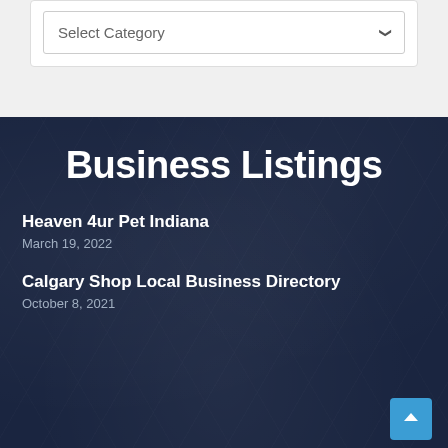[Figure (screenshot): A dropdown selector with label 'Select Category' and a chevron icon on a white card with light gray background]
Business Listings
Heaven 4ur Pet Indiana
March 19, 2022
Calgary Shop Local Business Directory
October 8, 2021